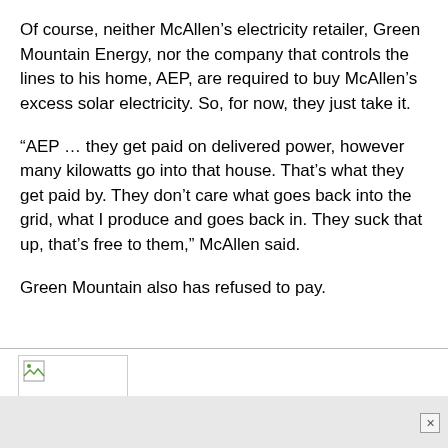Of course, neither McAllen’s electricity retailer, Green Mountain Energy, nor the company that controls the lines to his home, AEP, are required to buy McAllen’s excess solar electricity. So, for now, they just take it.
“AEP … they get paid on delivered power, however many kilowatts go into that house. That’s what they get paid by. They don’t care what goes back into the grid, what I produce and goes back in. They suck that up, that’s free to them,” McAllen said.
Green Mountain also has refused to pay.
[Figure (other): Broken image placeholder icon]